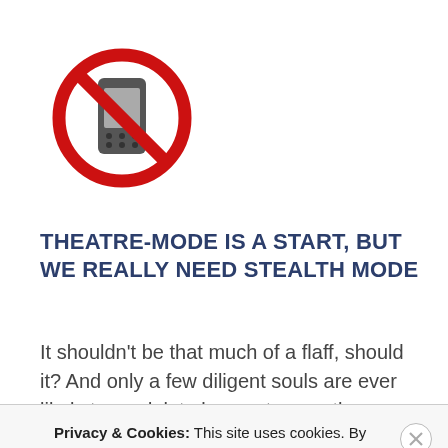[Figure (illustration): Red circle with diagonal line crossing over a mobile phone icon — no phones symbol]
THEATRE-MODE IS A START, BUT WE REALLY NEED STEALTH MODE
It shouldn't be that much of a flaff, should it? And only a few diligent souls are ever likely to read, let alone act upon, the above Theatre-Mode Survival Kit. The idea of
Privacy & Cookies: This site uses cookies. By continuing to use this website, you agree to their use.
To find out more, including how to control cookies, see here: Cookie Policy
Close and accept